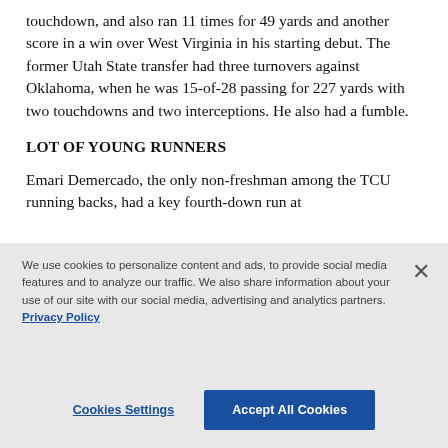touchdown, and also ran 11 times for 49 yards and another score in a win over West Virginia in his starting debut. The former Utah State transfer had three turnovers against Oklahoma, when he was 15-of-28 passing for 227 yards with two touchdowns and two interceptions. He also had a fumble.
LOT OF YOUNG RUNNERS
Emari Demercado, the only non-freshman among the TCU running backs, had a key fourth-down run at
We use cookies to personalize content and ads, to provide social media features and to analyze our traffic. We also share information about your use of our site with our social media, advertising and analytics partners. Privacy Policy
Cookies Settings | Accept All Cookies